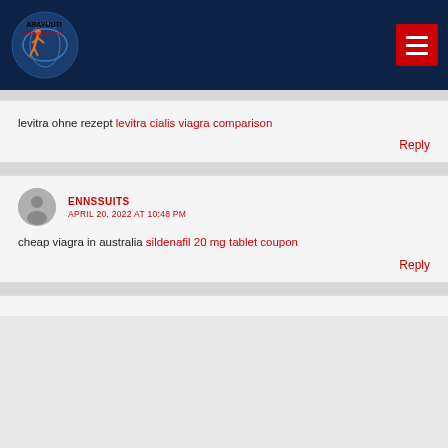Abayuuti Community Group
levitra ohne rezept levitra cialis viagra comparison
Reply
ENNSSUITS
APRIL 20, 2022 AT 10:48 PM
cheap viagra in australia sildenafil 20 mg tablet coupon
Reply